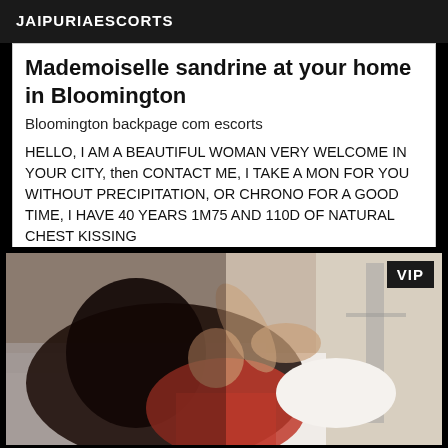JAIPURIAESCORTS
Mademoiselle sandrine at your home in Bloomington
Bloomington backpage com escorts
HELLO, I AM A BEAUTIFUL WOMAN VERY WELCOME IN YOUR CITY, then CONTACT ME, I TAKE A MON FOR YOU WITHOUT PRECIPITATION, OR CHRONO FOR A GOOD TIME, I HAVE 40 YEARS 1M75 AND 110D OF NATURAL CHEST KISSING
[Figure (photo): Woman posing on a bed wearing red lingerie, dark hair, VIP badge in top right corner]